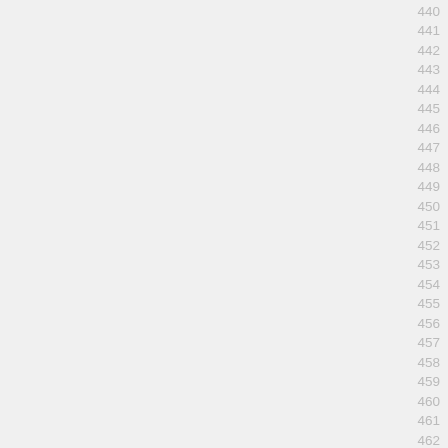440
441
442
443
444
445
446
447
448
449
450
451
452
453
454
455
456
457
458
459
460
461
462